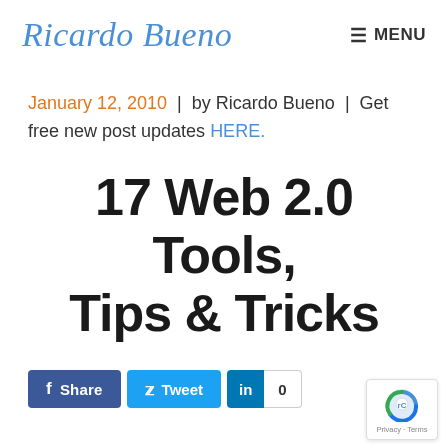Ricardo Bueno | MENU
January 12, 2010 | by Ricardo Bueno | Get free new post updates HERE.
17 Web 2.0 Tools, Tips & Tricks
[Figure (other): Social share buttons: Facebook Share, Twitter Tweet, LinkedIn share with count 0, and reCAPTCHA badge]